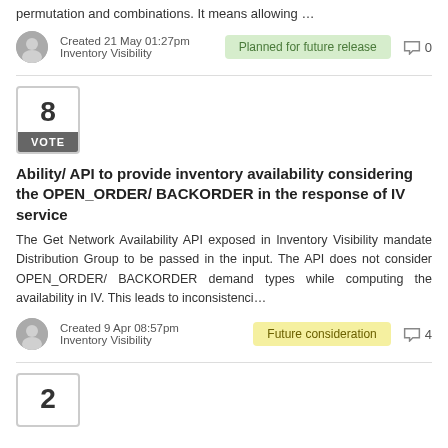permutation and combinations. It means allowing …
Created 21 May 01:27pm
Inventory Visibility
Planned for future release
0
8 VOTE
Ability/ API to provide inventory availability considering the OPEN_ORDER/ BACKORDER in the response of IV service
The Get Network Availability API exposed in Inventory Visibility mandate Distribution Group to be passed in the input. The API does not consider OPEN_ORDER/ BACKORDER demand types while computing the availability in IV. This leads to inconsistenci…
Created 9 Apr 08:57pm
Inventory Visibility
Future consideration
4
2